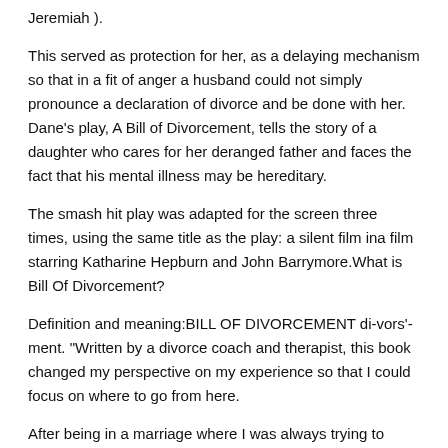Jeremiah ).
This served as protection for her, as a delaying mechanism so that in a fit of anger a husband could not simply pronounce a declaration of divorce and be done with her. Dane's play, A Bill of Divorcement, tells the story of a daughter who cares for her deranged father and faces the fact that his mental illness may be hereditary.
The smash hit play was adapted for the screen three times, using the same title as the play: a silent film ina film starring Katharine Hepburn and John Barrymore.What is Bill Of Divorcement?
Definition and meaning:BILL OF DIVORCEMENT di-vors'-ment. "Written by a divorce coach and therapist, this book changed my perspective on my experience so that I could focus on where to go from here.
After being in a marriage where I was always trying to change to accommodate my partner's wishes, divorce was a wake-up call to reconnect with the woman I was before marriage.